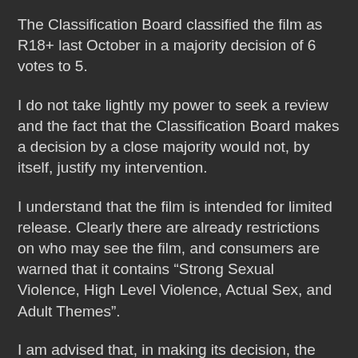The Classification Board classified the film as R18+ last October in a majority decision of 6 votes to 5.
I do not take lightly my power to seek a review and the fact that the Classification Board makes a decision by a close majority would not, by itself, justify my intervention.
I understand that the film is intended for limited release. Clearly there are already restrictions on who may see the film, and consumers are warned that it contains “Strong Sexual Violence, High Level Violence, Actual Sex, and Adult Themes”.
I am advised that, in making its decision, the Classification Board carefully considered the [continues below]